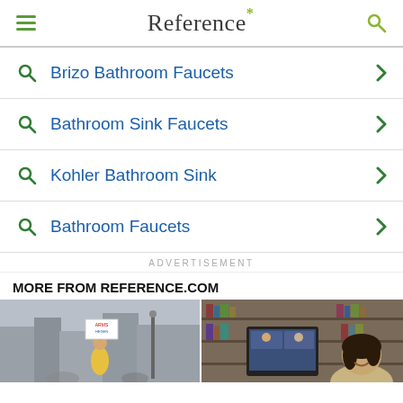Reference*
Brizo Bathroom Faucets
Bathroom Sink Faucets
Kohler Bathroom Sink
Bathroom Faucets
ADVERTISEMENT
MORE FROM REFERENCE.COM
[Figure (photo): Child in yellow shirt holding a protest sign reading ARMS-HEGEN at a public demonstration, street and buildings in background]
[Figure (photo): Woman smiling in front of a computer screen showing a video call, with bookshelves in the background]